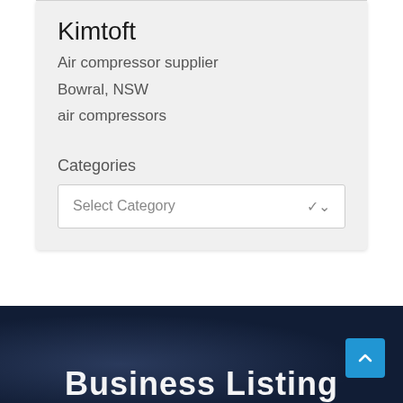Kimtoft
Air compressor supplier
Bowral, NSW
air compressors
Categories
Select Category